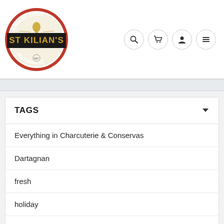[Figure (logo): St Kilian's Cheese Shop and Market, Denver CO — circular logo with red ring, black band, wheat/torch imagery]
[Figure (other): Navigation icons: search (magnifying glass), cart, user/account, hamburger menu — each in a light circular border]
TAGS
Everything in Charcuterie & Conservas
Dartagnan
fresh
holiday
natural
organic